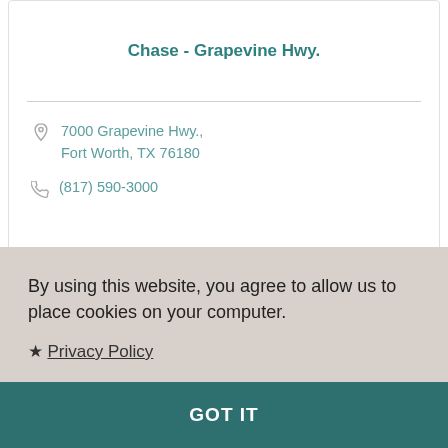Chase - Grapevine Hwy.
7000 Grapevine Hwy., Fort Worth, TX 76180
(817) 590-3000
By using this website, you agree to allow us to place cookies on your computer.
★ Privacy Policy
GOT IT